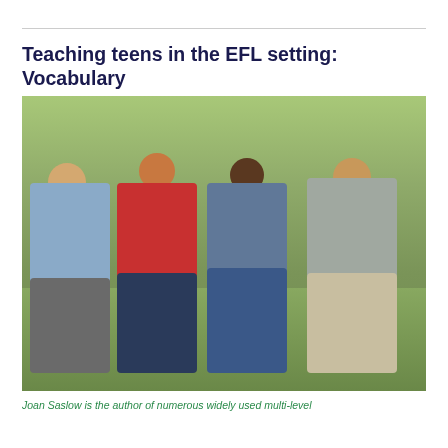Teaching teens in the EFL setting: Vocabulary
[Figure (photo): Four teenage students walking together outdoors on a grass lawn near a school building, smiling and carrying books and backpacks.]
Joan Saslow is the author of numerous widely used multi-level